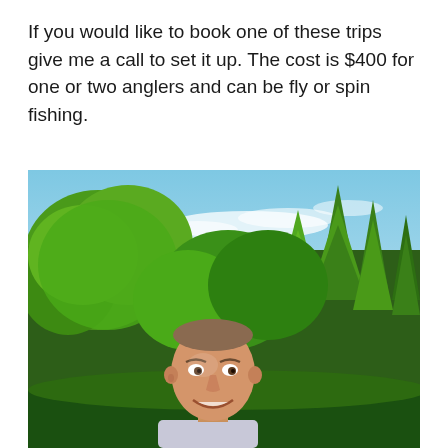If you would like to book one of these trips give me a call to set it up. The cost is $400 for one or two anglers and can be fly or spin fishing.
[Figure (photo): Outdoor selfie photo of a young bald/short-haired man smiling at the camera, with a lush green forest of deciduous and coniferous trees behind him under a partly cloudy blue sky.]